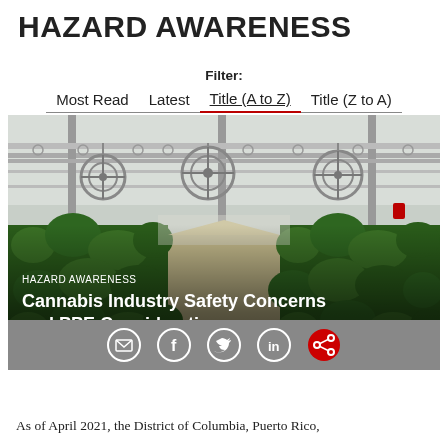HAZARD AWARENESS
Filter:
Most Read  Latest  Title (A to Z)  Title (Z to A)
[Figure (photo): Greenhouse interior with industrial fans mounted on overhead rails, cannabis plants growing in rows. Overlay shows category label 'HAZARD AWARENESS' and article title 'Cannabis Industry Safety Concerns and PPE Considerations'. Social sharing icons (email, Facebook, Twitter, LinkedIn, share) in a grey bar below image.]
As of April 2021, the District of Columbia, Puerto Rico,